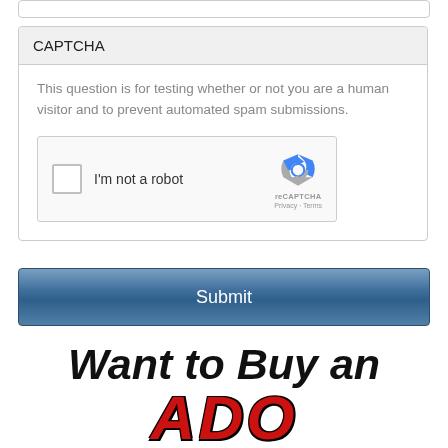CAPTCHA
This question is for testing whether or not you are a human visitor and to prevent automated spam submissions.
[Figure (other): reCAPTCHA widget with checkbox labeled 'I'm not a robot' and reCAPTCHA logo with Privacy · Terms links]
Submit
Want to Buy an AD?